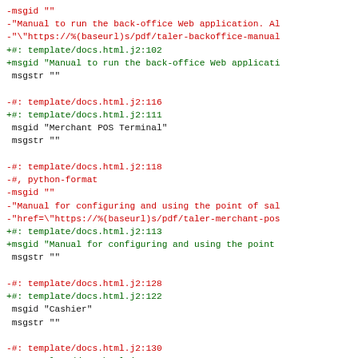-msgid ""
-"Manual to run the back-office Web application. Al
-"\"https://%(baseurl)s/pdf/taler-backoffice-manual
+#: template/docs.html.j2:102
+msgid "Manual to run the back-office Web applicati
 msgstr ""

-#: template/docs.html.j2:116
+#: template/docs.html.j2:111
 msgid "Merchant POS Terminal"
 msgstr ""

-#: template/docs.html.j2:118
-#, python-format
-msgid ""
-"Manual for configuring and using the point of sal
-"href=\"https://%(baseurl)s/pdf/taler-merchant-pos
+#: template/docs.html.j2:113
+msgid "Manual for configuring and using the point
 msgstr ""

-#: template/docs.html.j2:128
+#: template/docs.html.j2:122
 msgid "Cashier"
 msgstr ""

-#: template/docs.html.j2:130
+#: template/docs.html.j2:124
 msgid "An app for taking in cash and handing out e
 msgstr ""